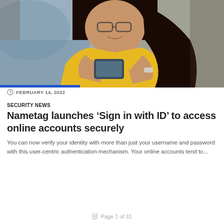[Figure (photo): Woman in yellow shirt smiling and looking at her smartphone, sitting at a table in a cafe-like environment]
FEBRUARY 14, 2022
SECURITY NEWS
Nametag launches ‘Sign in with ID’ to access online accounts securely
You can now verify your identity with more than just your username and password with this user-centric authentication mechanism. Your online accounts tend to...
Page 1 of 31